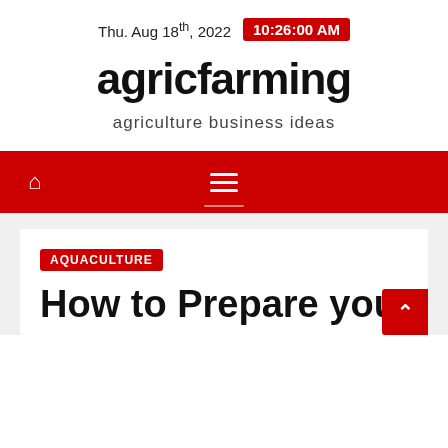Thu. Aug 18th, 2022  10:26:00 AM
agricfarming
agriculture business ideas
≡
AQUACULTURE
How to Prepare you